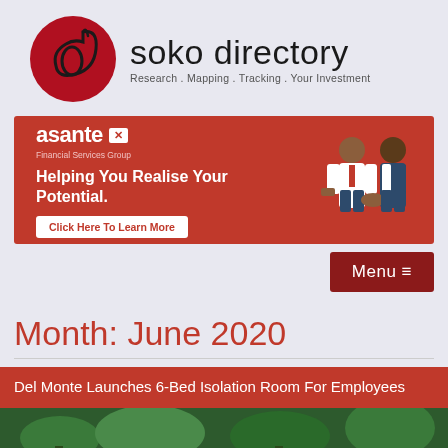[Figure (logo): Soko Directory logo: red circle with stylized 'd' letter mark, text 'soko directory' and tagline 'Research . Mapping . Tracking . Your Investment']
[Figure (infographic): Asante Financial Services Group banner ad: red background, 'asante X Financial Services Group' logo, text 'Helping You Realise Your Potential.', 'Click Here To Learn More' button, illustration of two businessmen shaking hands]
Menu ≡
Month: June 2020
Del Monte Launches 6-Bed Isolation Room For Employees
[Figure (photo): Partial photo of trees/outdoor scene at bottom of page]